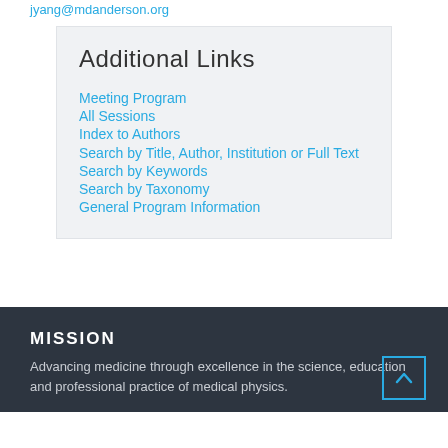jjyang@mdanderson.org
Additional Links
Meeting Program
All Sessions
Index to Authors
Search by Title, Author, Institution or Full Text
Search by Keywords
Search by Taxonomy
General Program Information
MISSION
Advancing medicine through excellence in the science, education and professional practice of medical physics.